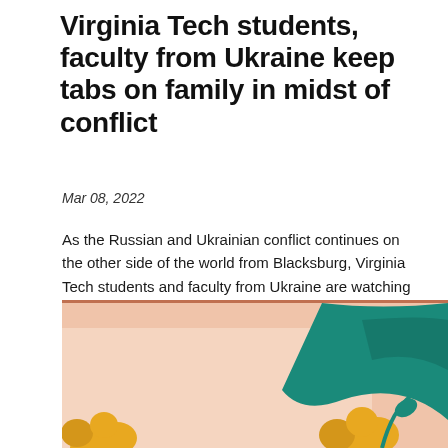Virginia Tech students, faculty from Ukraine keep tabs on family in midst of conflict
Mar 08, 2022
As the Russian and Ukrainian conflict continues on the other side of the world from Blacksburg, Virginia Tech students and faculty from Ukraine are watching in agony, while trying to help their families there find safety.
[Figure (illustration): Decorative illustration with peach/pink background, teal wave shape, golden yellow flower/poppy shapes, suggesting a Ukrainian-themed artistic illustration]